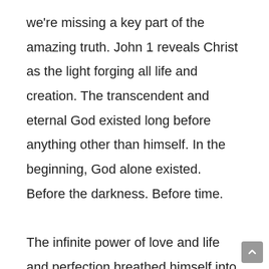we're missing a key part of the amazing truth. John 1 reveals Christ as the light forging all life and creation. The transcendent and eternal God existed long before anything other than himself. In the beginning, God alone existed. Before the darkness. Before time.

The infinite power of love and life and perfection breathed himself into us. He spoke all things into being for our benefit. He offered us the choice to love him freely. We accepted the Lord's gift and used